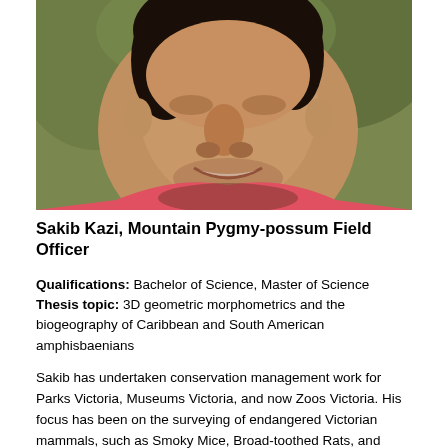[Figure (photo): Close-up photo of a smiling man (Sakib Kazi) with short dark hair and light beard, outdoors with trees in the background, wearing a red/pink top.]
Sakib Kazi, Mountain Pygmy-possum Field Officer
Qualifications: Bachelor of Science, Master of Science
Thesis topic: 3D geometric morphometrics and the biogeography of Caribbean and South American amphisbaenians
Sakib has undertaken conservation management work for Parks Victoria, Museums Victoria, and now Zoos Victoria. His focus has been on the surveying of endangered Victorian mammals, such as Smoky Mice, Broad-toothed Rats, and Mountain Pygmy-possums. He has surveyed for Smoky Mice and Broad-toothed rats in the